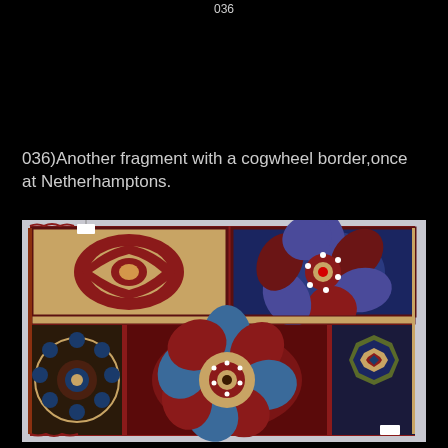036
036)Another fragment with a cogwheel border,once at Netherhamptons.
[Figure (photo): A fragment of an antique rug with geometric and floral patterns including cogwheel border, medallions, and star motifs in red, blue, gold, and cream colors on a light grey background]